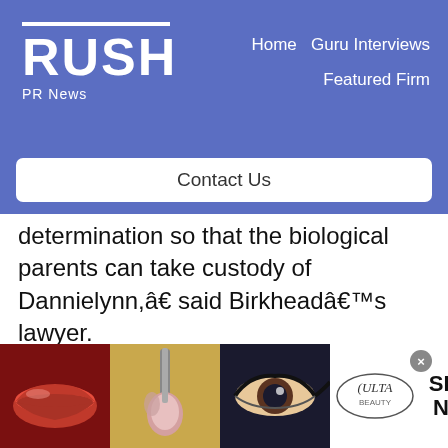RUSH PR News — Home | Guru Interviews | Featured Firm | Contact Us
determination so that the biological parents can take custody of Dannielynn,â€ said Birkheadâ€™s lawyer.
Even prior to that, they will ask a Florida Family Court judge today to either order that a sample of Dannielynná€™s DNA be collected in the Bahamas, or require the girl
[Figure (photo): Advertisement banner with makeup/beauty photos and Ulta logo and SHOP NOW call to action]